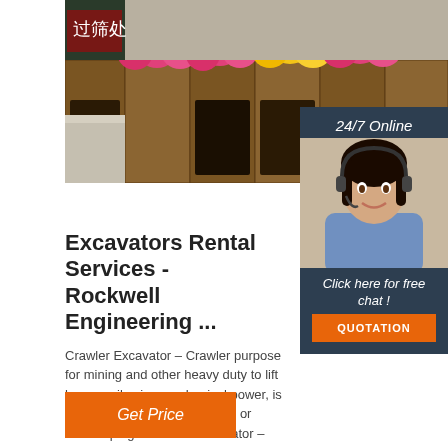[Figure (photo): Fruit market display with wooden crates containing dragon fruit, apples, and other produce arranged in a store]
[Figure (photo): 24/7 Online chat widget with a smiling female customer service representative wearing a headset, on dark navy background, with 'Click here for free chat!' text and orange QUOTATION button]
Excavators Rental Services - Rockwell Engineering ...
Crawler Excavator – Crawler purpose for mining and other heavy duty to lift heavy soil using mechanical power, is the best alternative to grading or landscaping. Backhoe Excavator – Backhoe the most commonly used because of widely applicable in different areas, extracting soil in mining or construction site.
Get Price